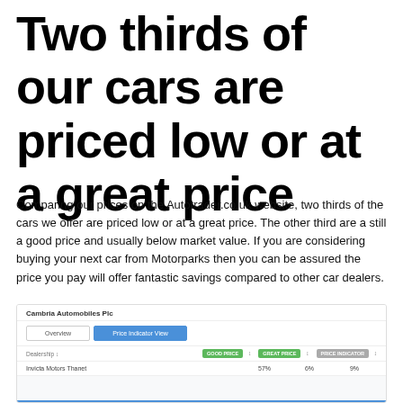Two thirds of our cars are priced low or at a great price
Comparing our prices on the Autotrader.co.uk website, two thirds of the cars we offer are priced low or at a great price. The other third are a still a good price and usually below market value. If you are considering buying your next car from Motorparks then you can be assured the price you pay will offer fantastic savings compared to other car dealers.
[Figure (screenshot): Screenshot of Cambria Automobiles Plc price indicator view on Autotrader.co.uk showing dealer listing with tabs for Overview and Price Indicator View, columns showing Good Price, Great Price, and Price Indicator badges, with Invicta Motors Thanet row showing 57%, 6%, 9%]